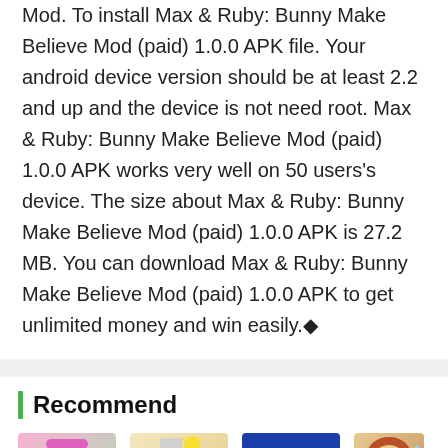Mod. To install Max & Ruby: Bunny Make Believe Mod (paid) 1.0.0 APK file. Your android device version should be at least 2.2 and up and the device is not need root. Max & Ruby: Bunny Make Believe Mod (paid) 1.0.0 APK works very well on 50 users's device. The size about Max & Ruby: Bunny Make Believe Mod (paid) 1.0.0 APK is 27.2 MB. You can download Max & Ruby: Bunny Make Believe Mod (paid) 1.0.0 APK to get unlimited money and win easily.◆
Recommend
[Figure (illustration): App icon thumbnail for mod apk of clash royale - cartoon girl with green face mask]
mod apk of clash royale
[Figure (illustration): App icon thumbnail for Incredible Dave (Unlocked) - cartoon man with lightbulb]
Incredible Dave(Unlocked)
[Figure (logo): App icon for old vidmate app - Super Sports Xebio logo on blue background]
old vidmate app
[Figure (illustration): App icon thumbnail for gta 5 mediafire apk - cartoon scared boy]
gta 5 mediafire apk